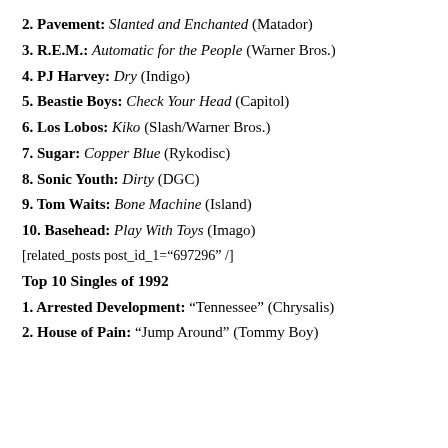2. Pavement: Slanted and Enchanted (Matador)
3. R.E.M.: Automatic for the People (Warner Bros.)
4. PJ Harvey: Dry (Indigo)
5. Beastie Boys: Check Your Head (Capitol)
6. Los Lobos: Kiko (Slash/Warner Bros.)
7. Sugar: Copper Blue (Rykodisc)
8. Sonic Youth: Dirty (DGC)
9. Tom Waits: Bone Machine (Island)
10. Basehead: Play With Toys (Imago)
[related_posts post_id_1="697296" /]
Top 10 Singles of 1992
1. Arrested Development: “Tennessee” (Chrysalis)
2. House of Pain: “Jump Around” (Tommy Boy)